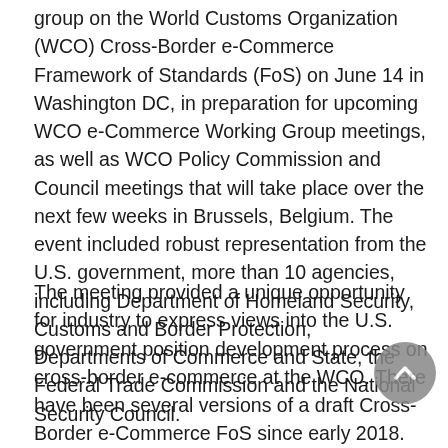group on the World Customs Organization (WCO) Cross-Border e-Commerce Framework of Standards (FoS) on June 14 in Washington DC, in preparation for upcoming WCO e-Commerce Working Group meetings, as well as WCO Policy Commission and Council meetings that will take place over the next few weeks in Brussels, Belgium. The event included robust representation from the U.S. government, more than 10 agencies, including Department of Homeland Security, Customs and Border Protection, Departments of Commerce and State, the Federal Trade Commission and the National Security Council.
The meeting provided a unique opportunity for industry to express views into the U.S. government position development process on cross-border e-commerce at the WCO. There have been several versions of a draft Cross-Border e-Commerce FoS since early 2018. Several WCO Members have raised concerns with aspects of the draft FoS